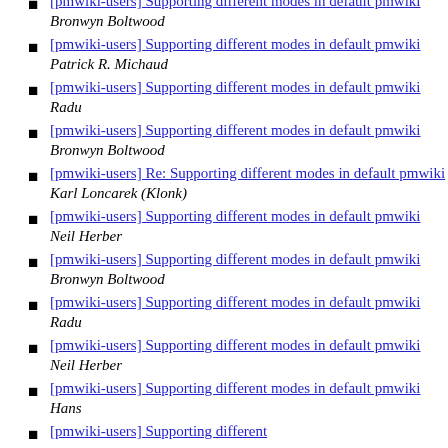[pmwiki-users] Supporting different modes in default pmwiki  Bronwyn Boltwood
[pmwiki-users] Supporting different modes in default pmwiki  Patrick R. Michaud
[pmwiki-users] Supporting different modes in default pmwiki  Radu
[pmwiki-users] Supporting different modes in default pmwiki  Bronwyn Boltwood
[pmwiki-users] Re: Supporting different modes in default pmwiki  Karl Loncarek (Klonk)
[pmwiki-users] Supporting different modes in default pmwiki  Neil Herber
[pmwiki-users] Supporting different modes in default pmwiki  Bronwyn Boltwood
[pmwiki-users] Supporting different modes in default pmwiki  Radu
[pmwiki-users] Supporting different modes in default pmwiki  Neil Herber
[pmwiki-users] Supporting different modes in default pmwiki  Hans
[pmwiki-users] Supporting different